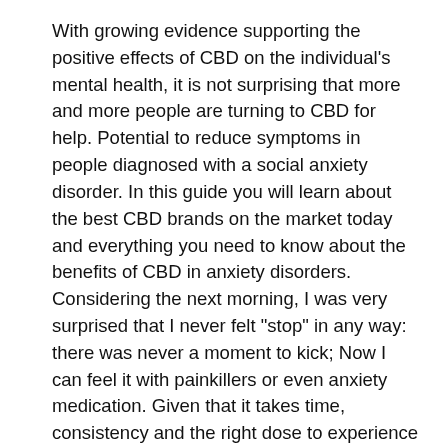With growing evidence supporting the positive effects of CBD on the individual's mental health, it is not surprising that more and more people are turning to CBD for help. Potential to reduce symptoms in people diagnosed with a social anxiety disorder. In this guide you will learn about the best CBD brands on the market today and everything you need to know about the benefits of CBD in anxiety disorders. Considering the next morning, I was very surprised that I never felt "stop" in any way: there was never a moment to kick; Now I can feel it with painkillers or even anxiety medication. Given that it takes time, consistency and the right dose to experience the full effect, I continued to take the oil once daily for the next six days. Participants with non-cancerous pain or mental health-related symptoms experienced a significant improvement in anxiety and depression as well as in their ability to carry out their usual activities.
Although CBD is a critical component of medical marijuana, most commercially available CBD products originate from the hemp plant. These products are said to offer a variety of